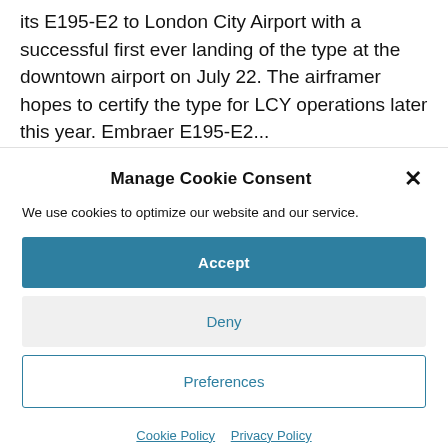its E195-E2 to London City Airport with a successful first ever landing of the type at the downtown airport on July 22. The airframer hopes to certify the type for LCY operations later this year. Embraer E195-E2...
Manage Cookie Consent
We use cookies to optimize our website and our service.
Accept
Deny
Preferences
Cookie Policy   Privacy Policy